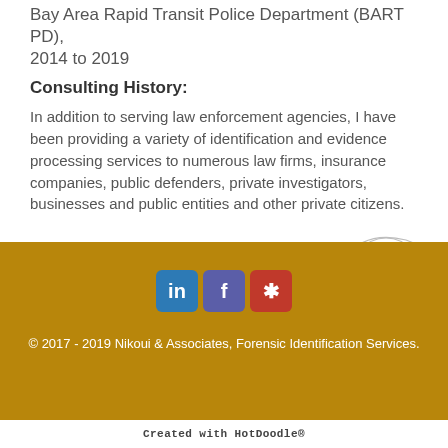Bay Area Rapid Transit Police Department (BART PD), 2014 to 2019
Consulting History:
In addition to serving law enforcement agencies, I have been providing a variety of identification and evidence processing services to numerous law firms, insurance companies, public defenders, private investigators, businesses and public entities and other private citizens.
[Figure (illustration): Fingerprint illustration partially visible in bottom-right, transitioning from grey outline at top to brown/gold fill at bottom]
© 2017 - 2019 Nikoui & Associates, Forensic Identification Services.
Created with HotDoodle®